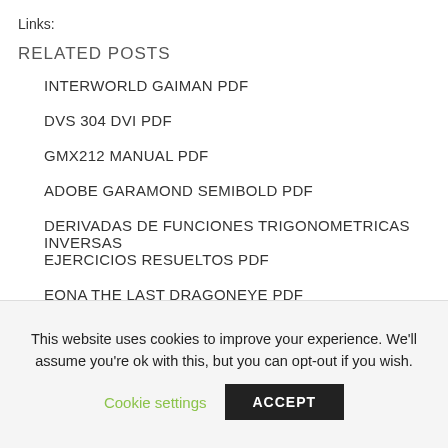Links:
RELATED POSTS
INTERWORLD GAIMAN PDF
DVS 304 DVI PDF
GMX212 MANUAL PDF
ADOBE GARAMOND SEMIBOLD PDF
DERIVADAS DE FUNCIONES TRIGONOMETRICAS INVERSAS EJERCICIOS RESUELTOS PDF
EONA THE LAST DRAGONEYE PDF
IN THE MISO SOUP RYU MURAKAMI PDF
This website uses cookies to improve your experience. We'll assume you're ok with this, but you can opt-out if you wish.
Cookie settings  ACCEPT